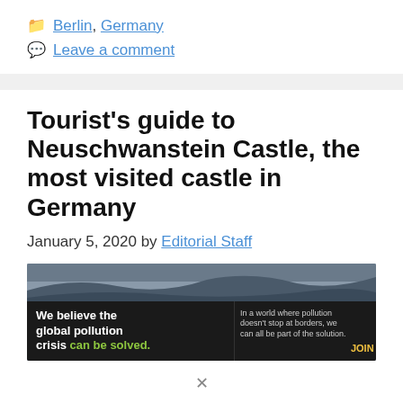Berlin, Germany
Leave a comment
Tourist's guide to Neuschwanstein Castle, the most visited castle in Germany
January 5, 2020 by Editorial Staff
[Figure (photo): Advertisement banner overlay on a castle/landscape photo. Ad reads: We believe the global pollution crisis can be solved. In a world where pollution doesn't stop at borders, we can all be part of the solution. JOIN US. Pure Earth logo.]